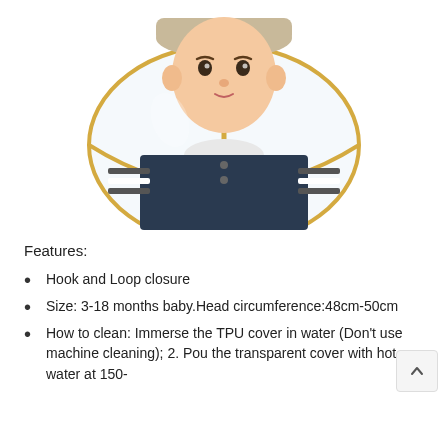[Figure (photo): A baby/toddler wearing a transparent TPU face shield attached to a hat with yellow trim, dressed in a dark navy outfit with white collar and stripes. The background is white.]
Features:
Hook and Loop closure
Size: 3-18 months baby.Head circumference:48cm-50cm
How to clean: Immerse the TPU cover in water (Don't use machine cleaning); 2. Pou the transparent cover with hot water at 150-